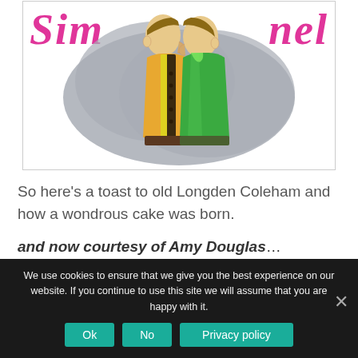[Figure (illustration): Illustration of two historical figures standing back to back, dressed in period costumes (one in orange/brown, one in green). The word 'Sim' appears in pink/magenta italic bold on the left and 'nel' on the right. Background is grey cloud-like shape.]
So here's a toast to old Longden Coleham and how a wondrous cake was born.
and now courtesy of Amy Douglas…
We use cookies to ensure that we give you the best experience on our website. If you continue to use this site we will assume that you are happy with it.